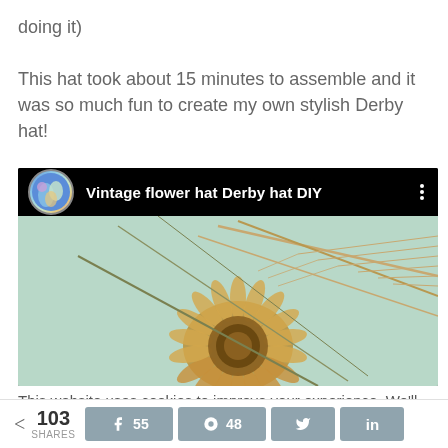doing it)
This hat took about 15 minutes to assemble and it was so much fun to create my own stylish Derby hat!
[Figure (screenshot): Embedded YouTube video thumbnail showing 'Vintage flower hat Derby hat DIY' with a dried flower image and channel avatar]
This website uses cookies to improve your experience. We'll assume you're ok with this, but you can opt-out if you wish.
< 103 SHARES  [Facebook] 55  [Pinterest] 48  [Twitter]  [LinkedIn]